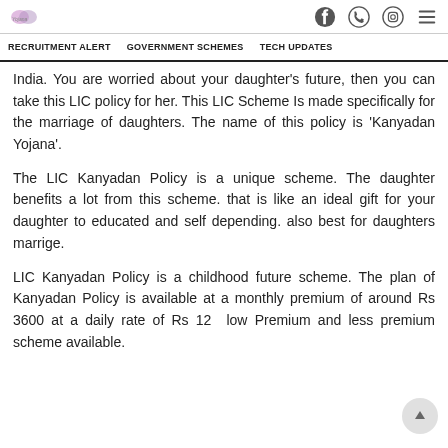RECRUITMENT ALERT   GOVERNMENT SCHEMES   TECH UPDATES
India. You are worried about your daughter's future, then you can take this LIC policy for her. This LIC Scheme Is made specifically for the marriage of daughters. The name of this policy is 'Kanyadan Yojana'.
The LIC Kanyadan Policy is a unique scheme. The daughter benefits a lot from this scheme. that is like an ideal gift for your daughter to educated and self depending. also best for daughters marrige.
LIC Kanyadan Policy is a childhood future scheme. The plan of Kanyadan Policy is available at a monthly premium of around Rs 3600 at a daily rate of Rs 12. low Premium and less premium scheme available.